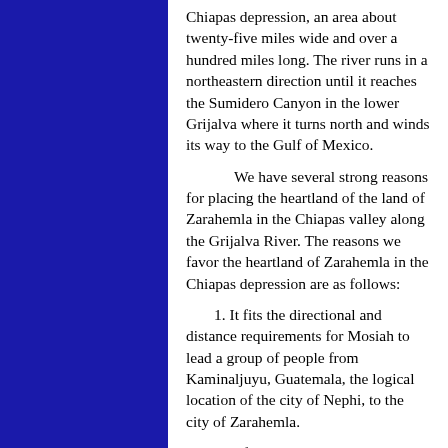Chiapas depression, an area about twenty-five miles wide and over a hundred miles long. The river runs in a northeastern direction until it reaches the Sumidero Canyon in the lower Grijalva where it turns north and winds its way to the Gulf of Mexico.
We have several strong reasons for placing the heartland of the land of Zarahemla in the Chiapas valley along the Grijalva River. The reasons we favor the heartland of Zarahemla in the Chiapas depression are as follows:
1. It fits the directional and distance requirements for Mosiah to lead a group of people from Kaminaljuyu, Guatemala, the logical location of the city of Nephi, to the city of Zarahemla.
2. It fits the directional